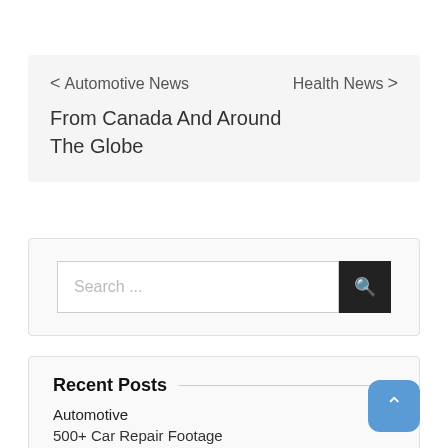< Automotive News From Canada And Around The Globe    Health News >
[Figure (screenshot): Search bar with text input placeholder 'Search ...' and a dark search button with magnifying glass icon]
Recent Posts
Automotive
500+ Car Repair Footage